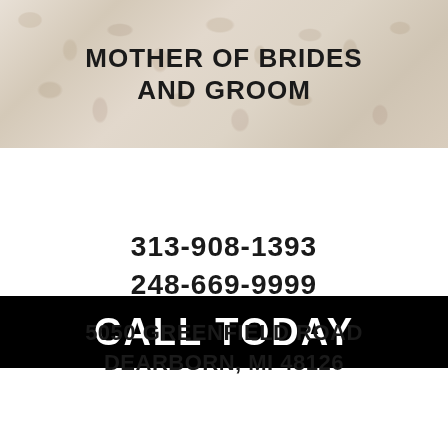[Figure (photo): Photo of white lace wedding dress fabric as background behind text reading MOTHER OF BRIDES AND GROOM]
MOTHER OF BRIDES AND GROOM
CALL TODAY
313-908-1393
248-669-9999
5050 GREENFIELD ROAD DEARBORN, MI 48126